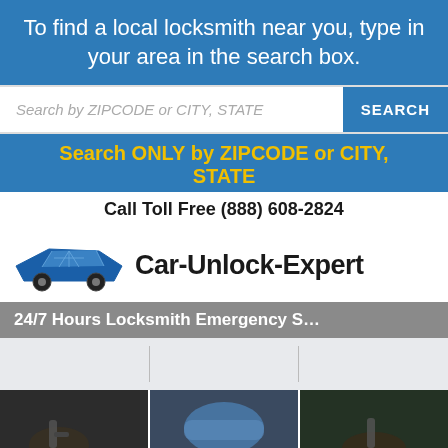To find a local locksmith near you, type in your area in the search box.
Search by ZIPCODE or CITY, STATE
SEARCH
Search ONLY by ZIPCODE or CITY, STATE
Call Toll Free (888) 608-2824
[Figure (logo): Blue geometric car silhouette logo icon]
Car-Unlock-Expert
24/7 Hours Locksmith Emergency
[Figure (photo): Three photos showing hands with car keys, car mirror, and locksmith work]
[Figure (photo): Car side mirror photo]
[Figure (photo): Hand with key photo]